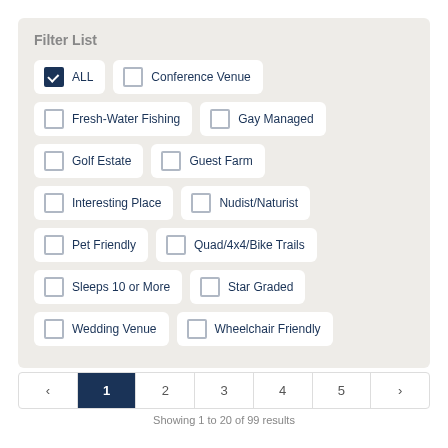Filter List
ALL (checked), Conference Venue (unchecked)
Fresh-Water Fishing (unchecked), Gay Managed (unchecked)
Golf Estate (unchecked), Guest Farm (unchecked)
Interesting Place (unchecked), Nudist/Naturist (unchecked)
Pet Friendly (unchecked), Quad/4x4/Bike Trails (unchecked)
Sleeps 10 or More (unchecked), Star Graded (unchecked)
Wedding Venue (unchecked), Wheelchair Friendly (unchecked)
< 1 2 3 4 5 >
Showing 1 to 20 of 99 results